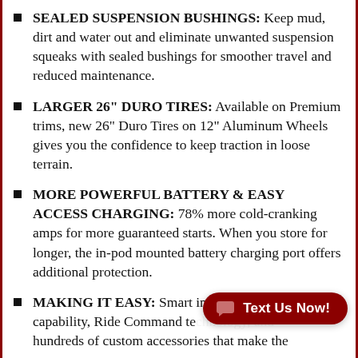SEALED SUSPENSION BUSHINGS: Keep mud, dirt and water out and eliminate unwanted suspension squeaks with sealed bushings for smoother travel and reduced maintenance.
LARGER 26" DURO TIRES: Available on Premium trims, new 26" Duro Tires on 12" Aluminum Wheels gives you the confidence to keep traction in loose terrain.
MORE POWERFUL BATTERY & EASY ACCESS CHARGING: 78% more cold-cranking amps for more guaranteed starts. When you store for longer, the in-pod mounted battery charging port offers additional protection.
MAKING IT EASY: Smart integration and capability, Ride Command technology, and hundreds of custom accessories that make the